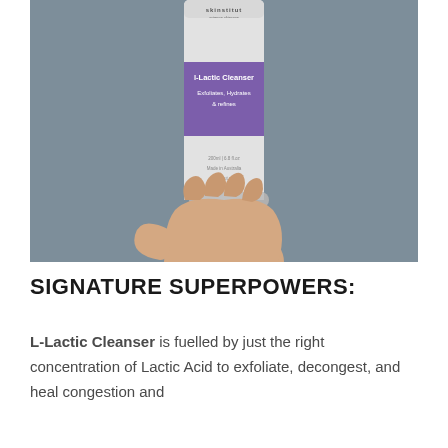[Figure (photo): A hand holding a white tube of Skinstit L-Lactic Cleanser with a purple label band, against a grey-blue background. The label reads 'L-Lactic Cleanser, Exfoliates, Hydrates & refines'.]
SIGNATURE SUPERPOWERS:
L-Lactic Cleanser is fuelled by just the right concentration of Lactic Acid to exfoliate, decongest, and heal congestion and